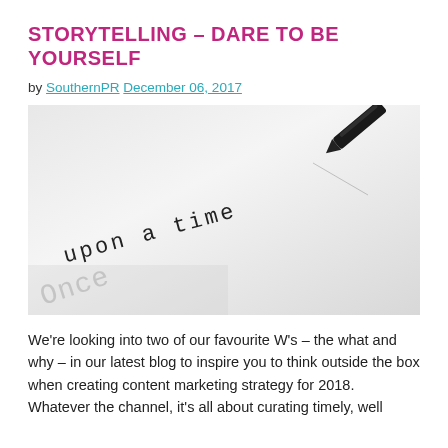STORYTELLING – DARE TO BE YOURSELF
by SouthernPR December 06, 2017
[Figure (photo): Close-up photo of a piece of paper with 'Once upon a time' written on it in handwritten print lettering, with a pen visible at the top right writing the text.]
We're looking into two of our favourite W's – the what and why – in our latest blog to inspire you to think outside the box when creating content marketing strategy for 2018. Whatever the channel, it's all about curating timely, well